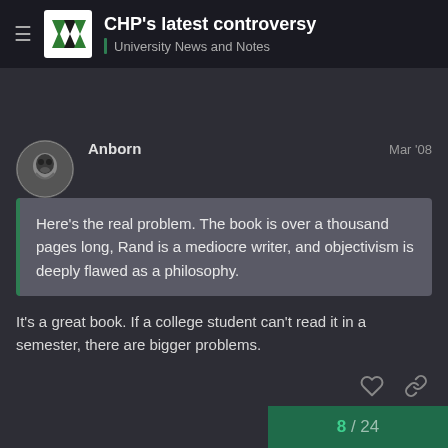CHP's latest controversy | University News and Notes
Anborn   Mar '08
Here's the real problem. The book is over a thousand pages long, Rand is a mediocre writer, and objectivism is deeply flawed as a philosophy.
It's a great book. If a college student can't read it in a semester, there are bigger problems.
8 / 24